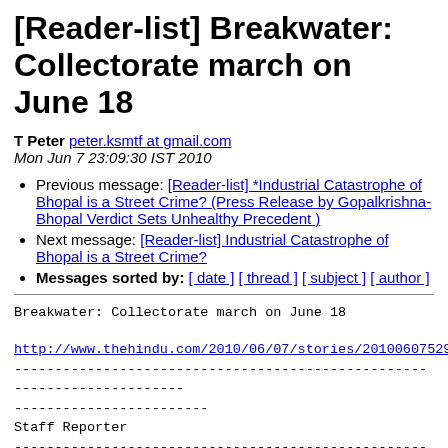[Reader-list] Breakwater: Collectorate march on June 18
T Peter peter.ksmtf at gmail.com
Mon Jun 7 23:09:30 IST 2010
Previous message: [Reader-list] *Industrial Catastrophe of Bhopal is a Street Crime? (Press Release by Gopalkrishna-Bhopal Verdict Sets Unhealthy Precedent )
Next message: [Reader-list] Industrial Catastrophe of Bhopal is a Street Crime?
Messages sorted by: [ date ] [ thread ] [ subject ] [ author ]
Breakwater: Collectorate march on June 18
http://www.thehindu.com/2010/06/07/stories/20100607529903
------------------------------------------------------------------------
------------------------
Staff Reporter
------------------------------------------------------------------------
------------------------
KSMTF demands 150-metre-long breakwater from Kakathope
k. The...